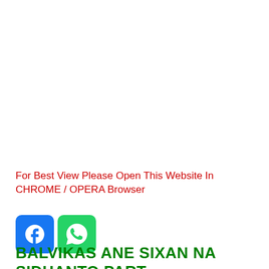For Best View Please Open This Website In CHROME / OPERA Browser
[Figure (illustration): Facebook and WhatsApp social media share icons side by side]
BALVIKAS ANE SIXAN NA SIDHANTO PART